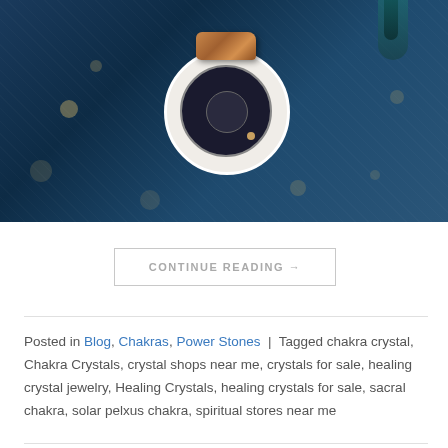[Figure (photo): A brown crystal or mineral stone resting on a dark blue astrological/zodiac chart wheel, placed on textured dark blue fabric with gold dot accents and teal peacock feather in background.]
CONTINUE READING →
Posted in Blog, Chakras, Power Stones | Tagged chakra crystal, Chakra Crystals, crystal shops near me, crystals for sale, healing crystal jewelry, Healing Crystals, healing crystals for sale, sacral chakra, solar pelxus chakra, spiritual stores near me